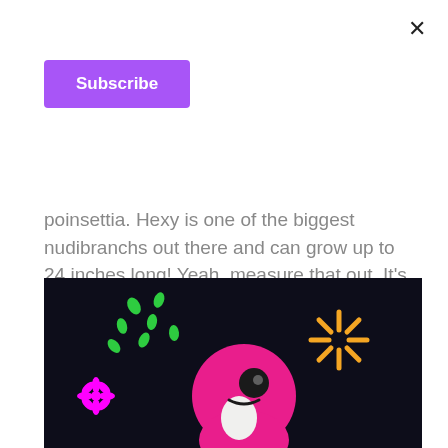×
Subscribe
poinsettia. Hexy is one of the biggest nudibranchs out there and can grow up to 24 inches long! Yeah, measure that out. It's a staggering size in the world of sea slugs!
[Figure (illustration): Dark background illustration of a pink cartoon nudibranch sea slug character with a round pink head, black eye, and white spots. Decorative elements include green dots scattered in upper left, an orange starburst/sparkle in upper right, and a pink flower on the left side.]